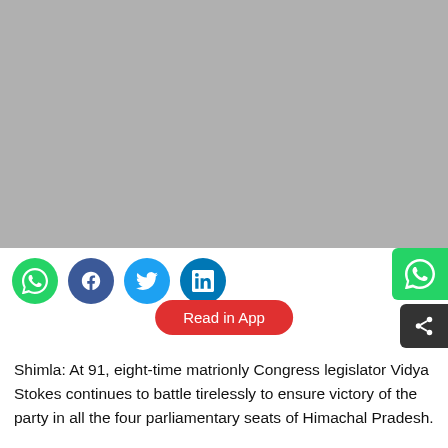[Figure (photo): Gray placeholder image filling the top portion of the page]
[Figure (infographic): Social media share icons: WhatsApp (green), Facebook (blue), Twitter (light blue), LinkedIn (dark blue), and a red 'Read in App' pill button, plus floating WhatsApp and share buttons on the right edge]
Shimla: At 91, eight-time matrionly Congress legislator Vidya Stokes continues to battle tirelessly to ensure victory of the party in all the four parliamentary seats of Himachal Pradesh.
She is daily rubbing shoulders with party leaders, a majority of